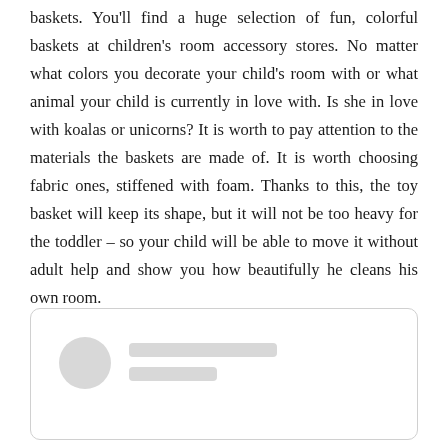baskets. You'll find a huge selection of fun, colorful baskets at children's room accessory stores. No matter what colors you decorate your child's room with or what animal your child is currently in love with. Is she in love with koalas or unicorns? It is worth to pay attention to the materials the baskets are made of. It is worth choosing fabric ones, stiffened with foam. Thanks to this, the toy basket will keep its shape, but it will not be too heavy for the toddler – so your child will be able to move it without adult help and show you how beautifully he cleans his own room.
[Figure (other): A social media or review card widget with a circular avatar placeholder, and two horizontal grey placeholder bars representing a user name and subtitle.]